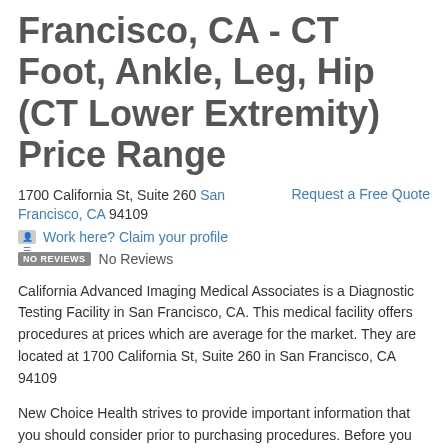Francisco, CA - CT Foot, Ankle, Leg, Hip (CT Lower Extremity) Price Range
1700 California St, Suite 260 San Francisco, CA 94109   Request a Free Quote
Work here? Claim your profile
NO REVIEWS  No Reviews
California Advanced Imaging Medical Associates is a Diagnostic Testing Facility in San Francisco, CA. This medical facility offers procedures at prices which are average for the market. They are located at 1700 California St, Suite 260 in San Francisco, CA 94109
New Choice Health strives to provide important information that you should consider prior to purchasing procedures. Before you consider using California Advanced Imaging Medical Associates, please compare other San Francisco, CA area providers. Request a Free Quote